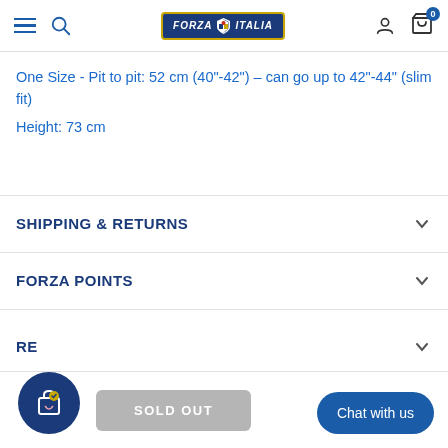Forza Italia - Navigation header with hamburger menu, search, logo, user icon, and cart (0)
One Size - Pit to pit: 52 cm (40"-42") – can go up to 42"-44" (slim fit)
Height: 73 cm
SHIPPING & RETURNS
FORZA POINTS
RE
Chat with us
SOLD OUT